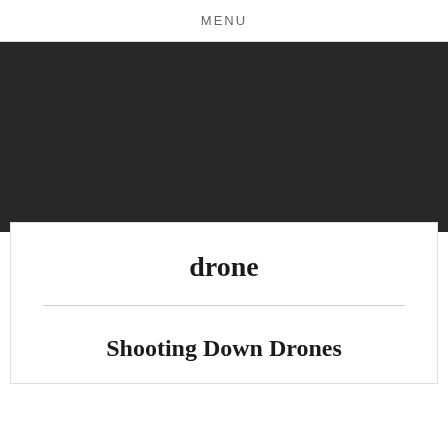MENU
[Figure (photo): Dark/black banner image area]
drone
Shooting Down Drones